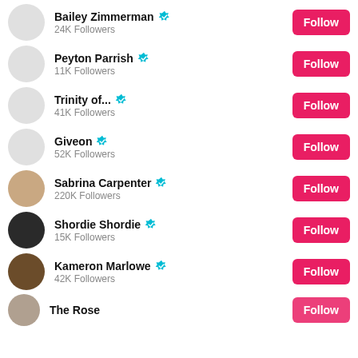Bailey Zimmerman | 24K Followers | Follow
Peyton Parrish | 11K Followers | Follow
Trinity of... | 41K Followers | Follow
Giveon | 52K Followers | Follow
Sabrina Carpenter | 220K Followers | Follow
Shordie Shordie | 15K Followers | Follow
Kameron Marlowe | 42K Followers | Follow
The Rose | Follow